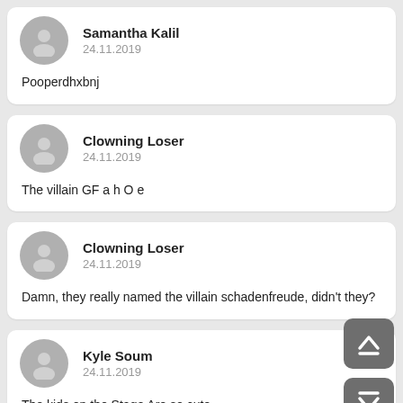Samantha Kalil
24.11.2019

Pooperdhxbnj
Clowning Loser
24.11.2019

The villain GF a h O e
Clowning Loser
24.11.2019

Damn, they really named the villain schadenfreude, didn't they?
Kyle Soum
24.11.2019

The kids on the Stage Are so cute